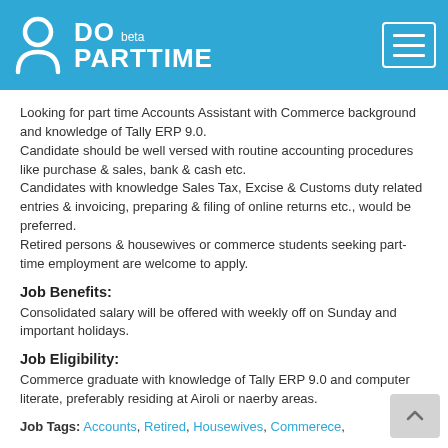DO PARTTIME beta
Looking for part time Accounts Assistant with Commerce background and knowledge of Tally ERP 9.0. Candidate should be well versed with routine accounting procedures like purchase & sales, bank & cash etc. Candidates with knowledge Sales Tax, Excise & Customs duty related entries & invoicing, preparing & filing of online returns etc., would be preferred. Retired persons & housewives or commerce students seeking part-time employment are welcome to apply.
Job Benefits:
Consolidated salary will be offered with weekly off on Sunday and important holidays.
Job Eligibility:
Commerce graduate with knowledge of Tally ERP 9.0 and computer literate, preferably residing at Airoli or naerby areas.
Job Tags: Accounts, Retired, Housewives, Commerece,